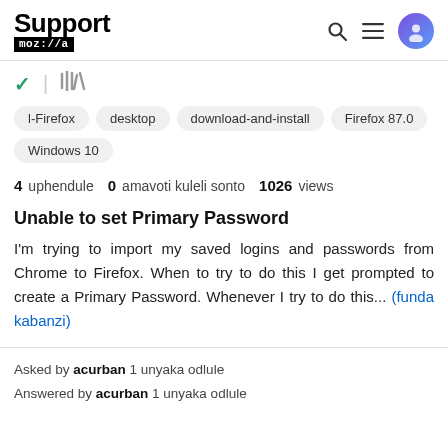Support moz://a
l-Firefox
desktop
download-and-install
Firefox 87.0
Windows 10
4 uphendule 0 amavoti kuleli sonto 1026 views
Unable to set Primary Password
I'm trying to import my saved logins and passwords from Chrome to Firefox. When to try to do this I get prompted to create a Primary Password. Whenever I try to do this... (funda kabanzi)
Asked by acurban 1 unyaka odlule
Answered by acurban 1 unyaka odlule